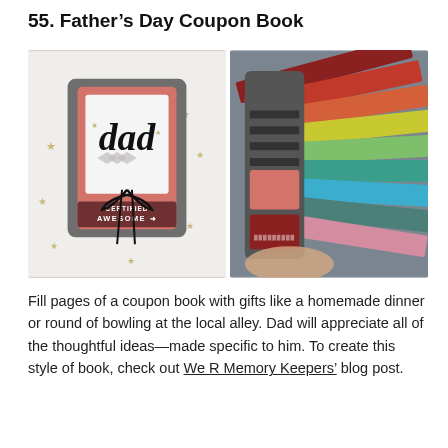55. Father's Day Coupon Book
[Figure (photo): Two photos side by side: left shows a handmade coupon book with 'dad' written in large script and 'CERTIFIED AWESOME' text, tied with black twine, surrounded by small wooden star embellishments on a white background. Right shows the inside of a colorful tabbed coupon book being held open, revealing multicolored pages with tabs.]
Fill pages of a coupon book with gifts like a homemade dinner or round of bowling at the local alley. Dad will appreciate all of the thoughtful ideas—made specific to him. To create this style of book, check out We R Memory Keepers' blog post.